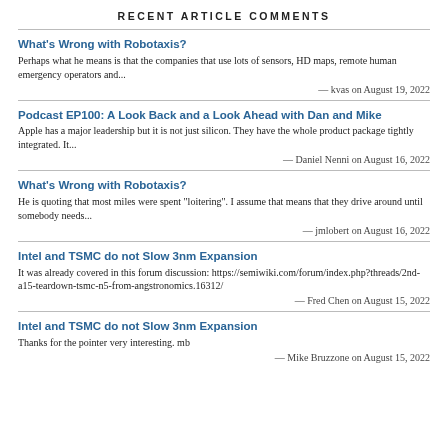RECENT ARTICLE COMMENTS
What's Wrong with Robotaxis?
Perhaps what he means is that the companies that use lots of sensors, HD maps, remote human emergency operators and...
— kvas on August 19, 2022
Podcast EP100: A Look Back and a Look Ahead with Dan and Mike
Apple has a major leadership but it is not just silicon. They have the whole product package tightly integrated. It...
— Daniel Nenni on August 16, 2022
What's Wrong with Robotaxis?
He is quoting that most miles were spent "loitering". I assume that means that they drive around until somebody needs...
— jmlobert on August 16, 2022
Intel and TSMC do not Slow 3nm Expansion
It was already covered in this forum discussion: https://semiwiki.com/forum/index.php?threads/2nd-a15-teardown-tsmc-n5-from-angstronomics.16312/
— Fred Chen on August 15, 2022
Intel and TSMC do not Slow 3nm Expansion
Thanks for the pointer very interesting. mb
— Mike Bruzzone on August 15, 2022